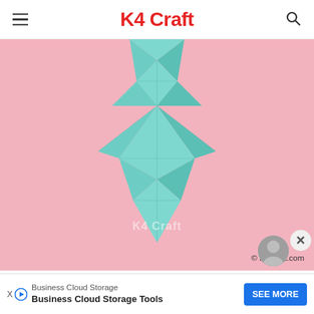K4 Craft
[Figure (photo): A teal/mint colored origami fox or geometric paper sculpture on a pink background. The paper fold shows pointed diamond-like geometric shapes forming the body of the figure. Watermark 'K4 Craft' and copyright '© K4Craft.com' visible on image.]
Fold both the sides of the lifted flap into
Business Cloud Storage  Business Cloud Storage Tools  SEE MORE